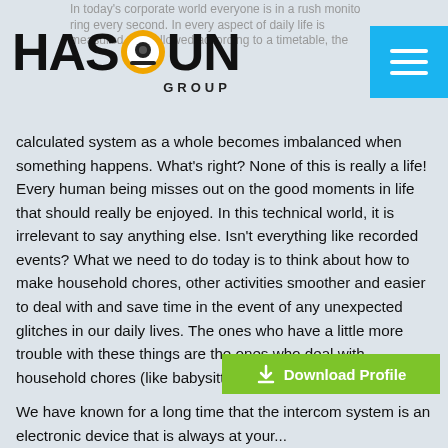In today's corporate world everyone is in a rush monitoring every second. In every aspect of daily life is measured and followed according to a timetable, the calculated system as a whole becomes imbalanced when something happens.
[Figure (logo): Hassoun Group logo with camera icon in the letter O]
calculated system as a whole becomes imbalanced when something happens. What's right? None of this is really a life! Every human being misses out on the good moments in life that should really be enjoyed. In this technical world, it is irrelevant to say anything else. Isn't everything like recorded events? What we need to do today is to think about how to make household chores, other activities smoother and easier to deal with and save time in the event of any unexpected glitches in our daily lives. The ones who have a little more trouble with these things are the ones who deal with household chores (like babysitting and cooking) and work together, both male and female. How can we save our time and cooperate with people who come unexpectedly in such a situation without confusing them. In this case, it's a good idea to seek the help of technology. This is where the use of Wireless Video Intercom System comes into play.
We have known for a long time that the intercom system is an electronic device that is always at your...